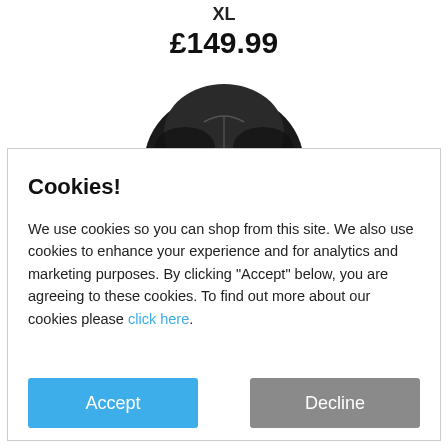XL
£149.99
[Figure (photo): Partial view of a black hooded jacket/coat product image, cropped at the top]
Cookies!
We use cookies so you can shop from this site. We also use cookies to enhance your experience and for analytics and marketing purposes. By clicking "Accept" below, you are agreeing to these cookies. To find out more about our cookies please click here.
Accept
Decline